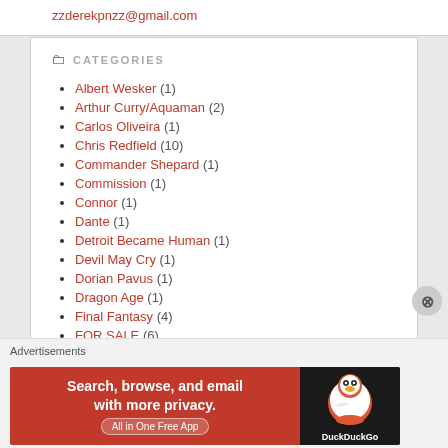zzderekpnzz@gmail.com
CATEGORIES
Albert Wesker (1)
Arthur Curry/Aquaman (2)
Carlos Oliveira (1)
Chris Redfield (10)
Commander Shepard (1)
Commission (1)
Connor (1)
Dante (1)
Detroit Became Human (1)
Devil May Cry (1)
Dorian Pavus (1)
Dragon Age (1)
Final Fantasy (4)
FOR SALE (6)
FREE (30)
Geralt of Rivia (2)
Holiday (2)
Injustice (2)
Advertisements
[Figure (screenshot): DuckDuckGo advertisement banner: 'Search, browse, and email with more privacy. All in One Free App' with DuckDuckGo logo on dark background]